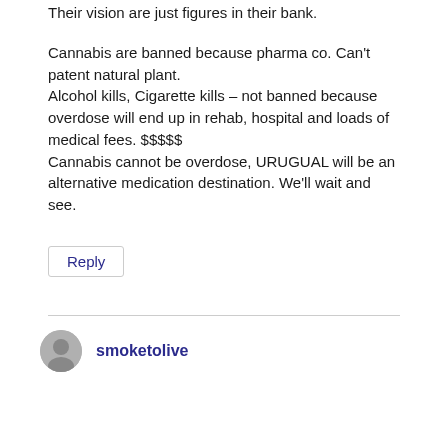Their vision are just figures in their bank.
Cannabis are banned because pharma co. Can't patent natural plant.
Alcohol kills, Cigarette kills – not banned because overdose will end up in rehab, hospital and loads of medical fees. $$$$$
Cannabis cannot be overdose, URUGUAL will be an alternative medication destination. We'll wait and see.
Reply
smoketolive